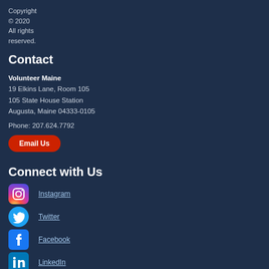Copyright © 2020 All rights reserved.
Contact
Volunteer Maine
19 Elkins Lane, Room 105
105 State House Station
Augusta, Maine 04333-0105
Phone: 207.624.7792
Email Us
Connect with Us
Instagram
Twitter
Facebook
LinkedIn